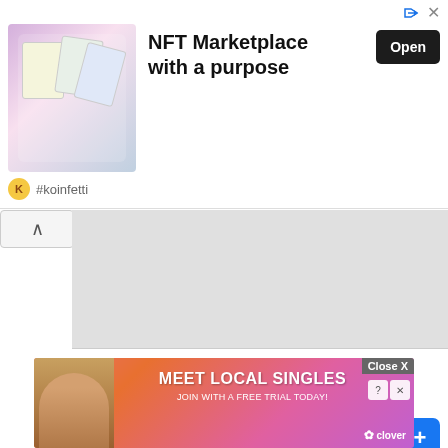[Figure (other): NFT Marketplace advertisement banner with app screenshots and Open button. '#koinfetti' branding at bottom.]
[Figure (other): Collapse/chevron up arrow button on left; gray image area on right (partially visible article header image).]
Big banks want to track people's bitcoins
[Figure (other): Social sharing buttons row: Facebook, Twitter, Email, WhatsApp, Reddit, Yahoo, Messenger, Telegram, More (+).]
[Figure (other): Author avatar placeholder with red icon, 'in FINANCE' category label.]
[Figure (other): Bottom advertisement: 'MEET LOCAL SINGLES - JOIN WITH A FREE TRIAL TODAY!' clover dating app ad with photo of woman.]